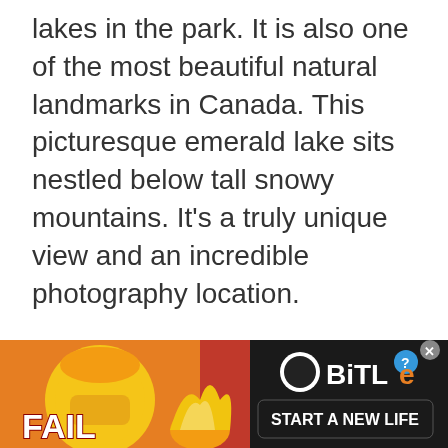lakes in the park. It is also one of the most beautiful natural landmarks in Canada. This picturesque emerald lake sits nestled below tall snowy mountains. It's a truly unique view and an incredible photography location.
Visitors to Banff National Park can partake in a variety of outdoor activities. These include fishing, and swimming, and hiking while taking in the breathtaking vistas.
The park is relatively easy to get to from popular locations in both Alberta and British [obscured by ad] oppo[rtunities] and
[Figure (other): Advertisement banner for BitLife game app showing 'FAIL' text, animated character, fire graphics, BitLife logo with question mark and X buttons, and 'START A NEW LIFE' call to action on a red/orange background.]